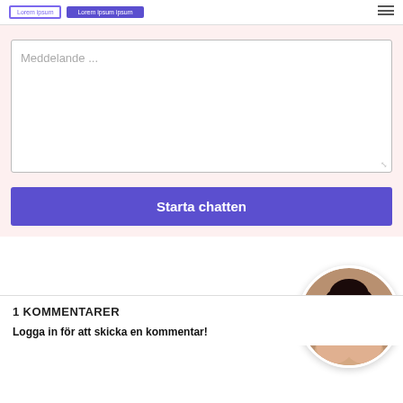Meddelande ...
Starta chatten
[Figure (photo): Circular profile photo of a dark-haired woman]
1 KOMMENTARER
Logga in för att skicka en kommentar!